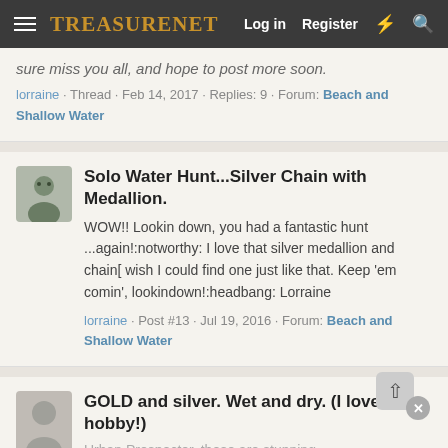TreasureNet  Log in  Register
sure miss you all, and hope to post more soon.
lorraine · Thread · Feb 14, 2017 · Replies: 9 · Forum: Beach and Shallow Water
Solo Water Hunt...Silver Chain with Medallion.
WOW!! Lookin down, you had a fantastic hunt ...again!:notworthy: I love that silver medallion and chain[ wish I could find one just like that. Keep 'em comin', lookindown!:headbang: Lorraine
lorraine · Post #13 · Jul 19, 2016 · Forum: Beach and Shallow Water
GOLD and silver. Wet and dry. (I love this hobby!)
Urban Prospector, those are stunning